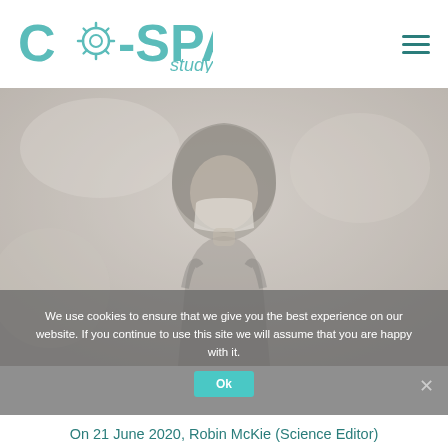CO-SPACE study
[Figure (photo): Faded/muted photo of a woman wearing a hijab and a white face mask, photographed outdoors in soft focus]
We use cookies to ensure that we give you the best experience on our website. If you continue to use this site we will assume that you are happy with it.
Ok
On 21 June 2020, Robin McKie (Science Editor)